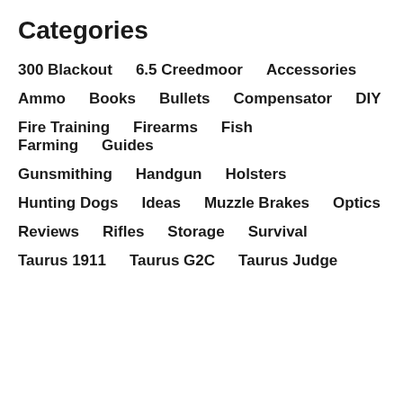Categories
300 Blackout
6.5 Creedmoor
Accessories
Ammo
Books
Bullets
Compensator
DIY
Fire Training
Firearms
Fish Farming
Guides
Gunsmithing
Handgun
Holsters
Hunting Dogs
Ideas
Muzzle Brakes
Optics
Reviews
Rifles
Storage
Survival
Taurus 1911
Taurus G2C
Taurus Judge